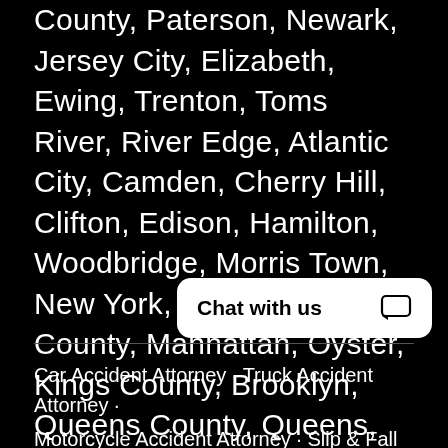County, Paterson, Newark, Jersey City, Elizabeth, Ewing, Trenton, Toms River, River Edge, Atlantic City, Camden, Cherry Hill, Clifton, Edison, Hamilton, Woodbridge, Morris Town, New York, New York County, Manhattan, Oyster, Kings County, Brooklyn, Queens County, Queens, Staten, Island, The Bronx, Westchester County, Yonkers, White Plains, New Rochelle, Albany, Troy, Syracuse, Brookhaven, Hempstead, Islip, Rockland County, Newburg, Connecticut, Fairfield County, Stamford, Bridgeport, Danbury, Hartford, Norwalk, New Haven, Waterbury.
[Figure (other): Chat with us widget button with speech bubble icon]
Car Accident Attorney · Truck Accident Attorney · Motorcycle Accident Attorney · Slip & Fall Attorney · Personal Injury Attorney